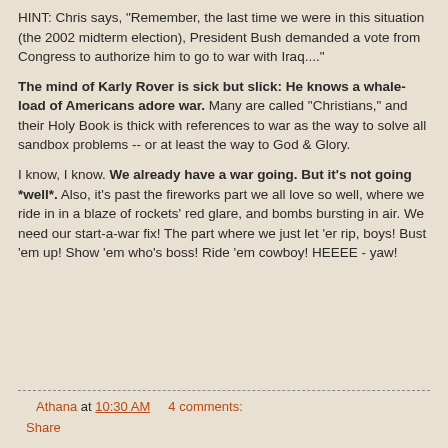HINT: Chris says, "Remember, the last time we were in this situation (the 2002 midterm election), President Bush demanded a vote from Congress to authorize him to go to war with Iraq...."
The mind of Karly Rover is sick but slick: He knows a whale-load of Americans adore war. Many are called "Christians," and their Holy Book is thick with references to war as the way to solve all sandbox problems -- or at least the way to God & Glory.
I know, I know. We already have a war going. But it's not going *well*. Also, it's past the fireworks part we all love so well, where we ride in in a blaze of rockets' red glare, and bombs bursting in air. We need our start-a-war fix! The part where we just let 'er rip, boys! Bust 'em up! Show 'em who's boss! Ride 'em cowboy! HEEEE - yaw!
Athana at 10:30 AM    4 comments:
Share